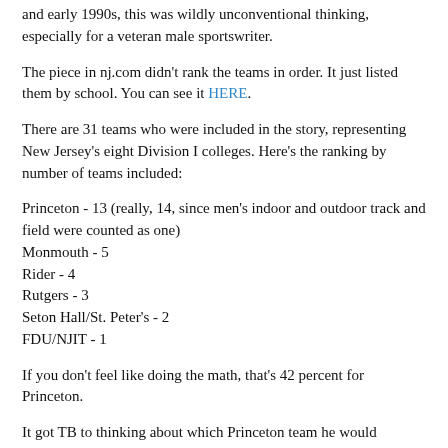and early 1990s, this was wildly unconventional thinking, especially for a veteran male sportswriter.
The piece in nj.com didn't rank the teams in order. It just listed them by school. You can see it HERE.
There are 31 teams who were included in the story, representing New Jersey's eight Division I colleges. Here's the ranking by number of teams included:
Princeton - 13 (really, 14, since men's indoor and outdoor track and field were counted as one)
Monmouth - 5
Rider - 4
Rutgers - 3
Seton Hall/St. Peter's - 2
FDU/NJIT - 1
If you don't feel like doing the math, that's 42 percent for Princeton.
It got TB to thinking about which Princeton team he would